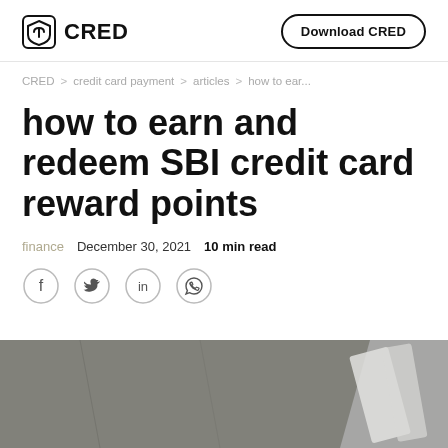CRED | Download CRED
CRED > credit card payment > articles > how to ear...
how to earn and redeem SBI credit card reward points
finance   December 30, 2021   10 min read
[Figure (other): Social share icons: Facebook, Twitter, LinkedIn, WhatsApp]
[Figure (photo): Road surface with white stripe markings, dark asphalt background]